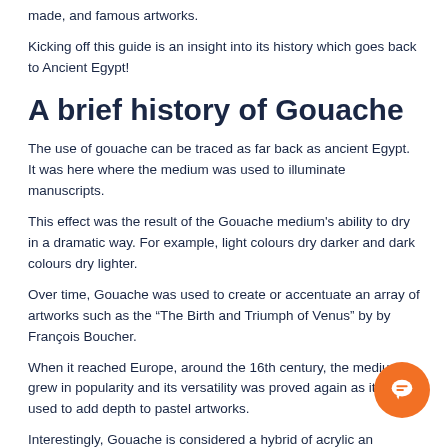made, and famous artworks.
Kicking off this guide is an insight into its history which goes back to Ancient Egypt!
A brief history of Gouache
The use of gouache can be traced as far back as ancient Egypt. It was here where the medium was used to illuminate manuscripts.
This effect was the result of the Gouache medium's ability to dry in a dramatic way. For example, light colours dry darker and dark colours dry lighter.
Over time, Gouache was used to create or accentuate an array of artworks such as the “The Birth and Triumph of Venus” by by François Boucher.
When it reached Europe, around the 16th century, the medium grew in popularity and its versatility was proved again as it was used to add depth to pastel artworks.
Interestingly, Gouache is considered a hybrid of acrylic and...